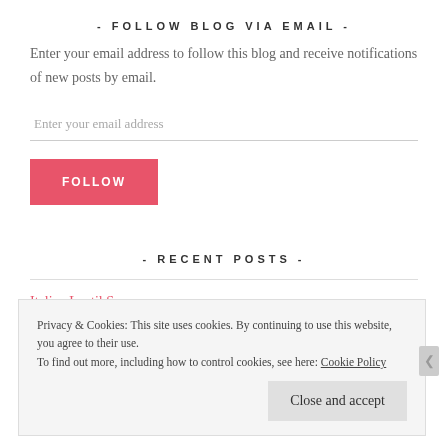- FOLLOW BLOG VIA EMAIL -
Enter your email address to follow this blog and receive notifications of new posts by email.
Enter your email address
FOLLOW
- RECENT POSTS -
Italian Lentil Sauce
Privacy & Cookies: This site uses cookies. By continuing to use this website, you agree to their use.
To find out more, including how to control cookies, see here: Cookie Policy
Close and accept